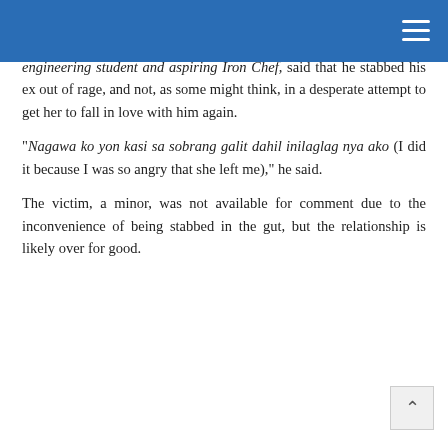engineering student and aspiring Iron Chef, said that he stabbed his ex out of rage, and not, as some might think, in a desperate attempt to get her to fall in love with him again.
“Nagawa ko yon kasi sa sobrang galit dahil inilaglag nya ako (I did it because I was so angry that she left me),” he said.
The victim, a minor, was not available for comment due to the inconvenience of being stabbed in the gut, but the relationship is likely over for good.